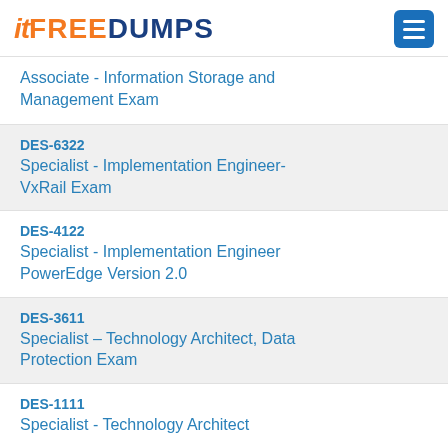[Figure (logo): itFreeDumps logo with hamburger menu button]
Associate - Information Storage and Management Exam
DES-6322
Specialist - Implementation Engineer-VxRail Exam
DES-4122
Specialist - Implementation Engineer PowerEdge Version 2.0
DES-3611
Specialist – Technology Architect, Data Protection Exam
DES-1111
Specialist - Technology Architect